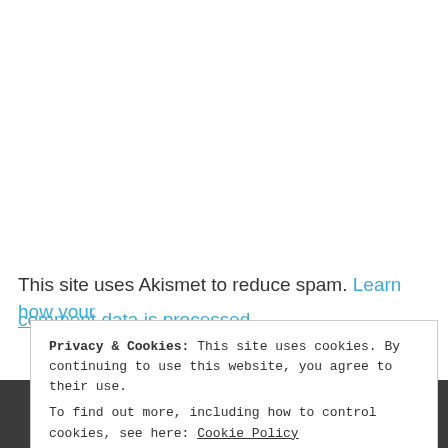This site uses Akismet to reduce spam. Learn how your comment data is processed.
Privacy & Cookies: This site uses cookies. By continuing to use this website, you agree to their use.
To find out more, including how to control cookies, see here: Cookie Policy
Close and accept